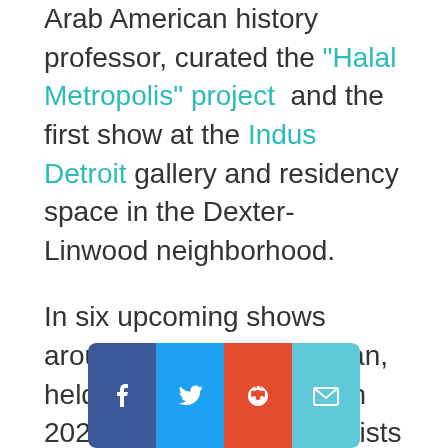Arab American history professor, curated the "Halal Metropolis" project and the first show at the Indus Detroit gallery and residency space in the Dexter-Linwood neighborhood.
In six upcoming shows around southeast Michigan, held intermittently through 2020, different Muslim artists examine the nature of Muslim visibility in the region and wider American society —
[Figure (other): Social share buttons: Facebook (blue), Twitter (light blue), Reddit (orange-red), Email (teal)]